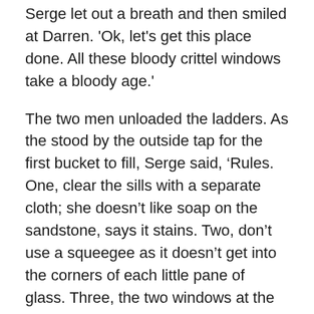Serge let out a breath and then smiled at Darren. 'Ok, let's get this place done. All these bloody crittel windows take a bloody age.'
The two men unloaded the ladders. As the stood by the outside tap for the first bucket to fill, Serge said, ‘Rules. One, clear the sills with a separate cloth; she doesn’t like soap on the sandstone, says it stains. Two, don’t use a squeegee as it doesn’t get into the corners of each little pane of glass. Three, the two windows at the top, round the back, are outside our arrangement so leave them.’
‘She do them herself?’
‘No idea but I doubt it. You’ll see they’re all grown over anyway so you’ll get scratched to pieces if you try.’
Darren picked up the bucket and looked up at the front